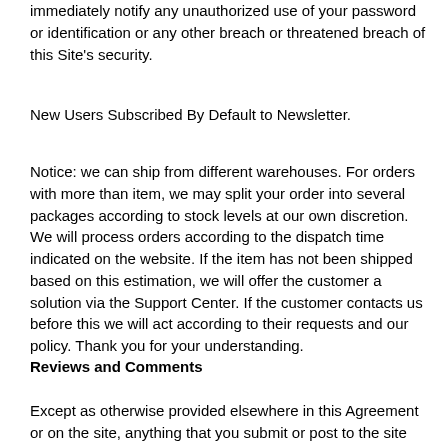immediately notify any unauthorized use of your password or identification or any other breach or threatened breach of this Site's security.
New Users Subscribed By Default to Newsletter.
Notice: we can ship from different warehouses. For orders with more than item, we may split your order into several packages according to stock levels at our own discretion. We will process orders according to the dispatch time indicated on the website. If the item has not been shipped based on this estimation, we will offer the customer a solution via the Support Center. If the customer contacts us before this we will act according to their requests and our policy. Thank you for your understanding.
Reviews and Comments
Except as otherwise provided elsewhere in this Agreement or on the site, anything that you submit or post to the site and/or provide,